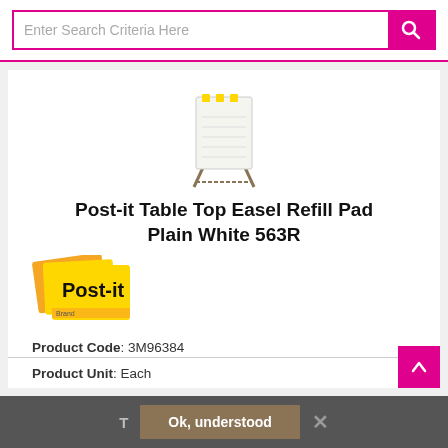Enter Search Criteria Here
[Figure (photo): Post-it Table Top Easel Refill Pad product image - white pad on an easel stand with yellow binding]
Post-it Table Top Easel Refill Pad Plain White 563R
[Figure (logo): Post-it brand logo - yellow notes with Post-it text in black and red]
Product Code: 3M96384
Product Unit: Each
T   Ok, understood   ×